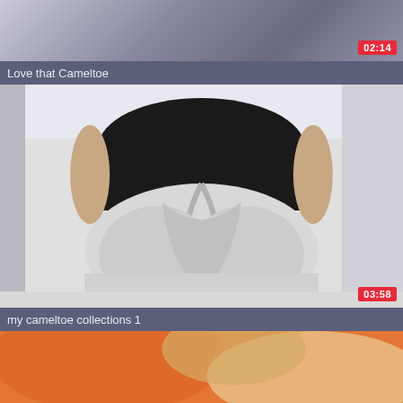[Figure (photo): Video thumbnail showing partial view of person, top portion cropped, with duration badge 02:14]
Love that Cameltoe
[Figure (photo): Video thumbnail showing person in black top and white leggings from behind, with duration badge 03:58]
my cameltoe collections 1
[Figure (photo): Video thumbnail showing partial view, bottom portion, warm orange tones, cropped]